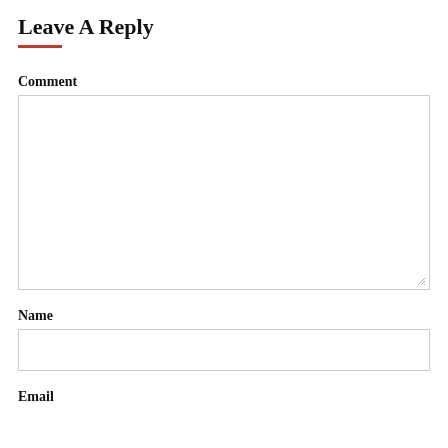Leave A Reply
Comment
[Figure (other): Empty comment text area input box with resize handle]
Name
[Figure (other): Empty name text input box]
Email